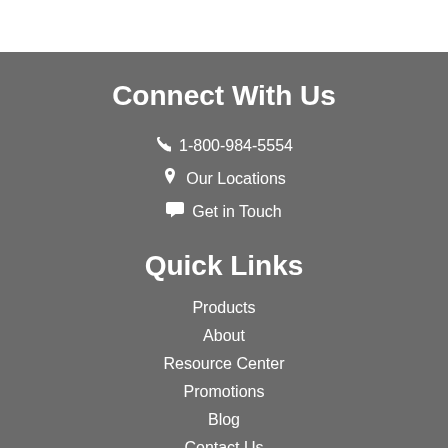Connect With Us
1-800-984-5554
Our Locations
Get in Touch
Quick Links
Products
About
Resource Center
Promotions
Blog
Contact Us